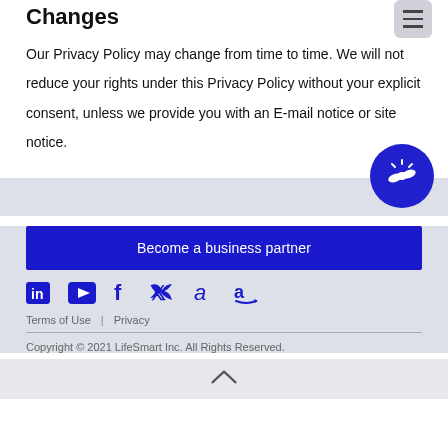Changes
Our Privacy Policy may change from time to time. We will not reduce your rights under this Privacy Policy without your explicit consent, unless we provide you with an E-mail notice or site notice.
[Figure (illustration): Circular blue icon with white handshake graphic]
Become a business partner
[Figure (infographic): Social media icons: LinkedIn, YouTube, Facebook, Twitter, Alibaba, Amazon]
Terms of Use  |  Privacy
Copyright © 2021 LifeSmart Inc. All Rights Reserved.
[Figure (illustration): Upward chevron arrow icon]